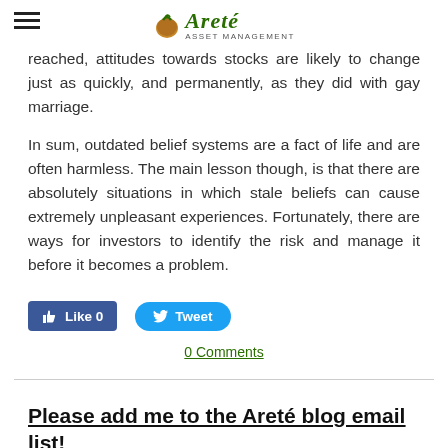Areté Asset Management
reached, attitudes towards stocks are likely to change just as quickly, and permanently, as they did with gay marriage.
In sum, outdated belief systems are a fact of life and are often harmless. The main lesson though, is that there are absolutely situations in which stale beliefs can cause extremely unpleasant experiences. Fortunately, there are ways for investors to identify the risk and manage it before it becomes a problem.
[Figure (other): Facebook Like button (Like 0) and Twitter Tweet button]
0 Comments
Please add me to the Areté blog email list!